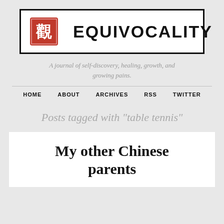[Figure (logo): Equivocality blog logo with red Chinese seal stamp on left and 'EQUIVOCALITY' text in bold sans-serif on right, inside a thick black border rectangle]
A journal of self-discovery, healing, growth, and growing pains.
HOME   ABOUT   ARCHIVES   RSS   TWITTER
Posts tagged with "table tennis"
My other Chinese parents